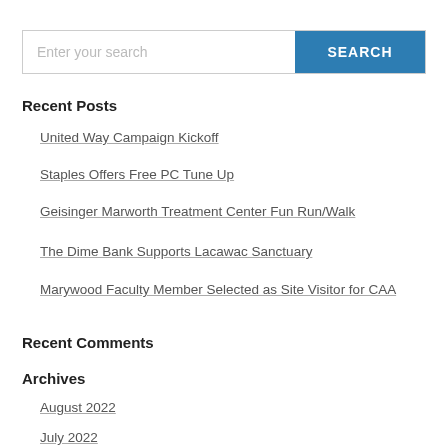Enter your search | SEARCH
Recent Posts
United Way Campaign Kickoff
Staples Offers Free PC Tune Up
Geisinger Marworth Treatment Center Fun Run/Walk
The Dime Bank Supports Lacawac Sanctuary
Marywood Faculty Member Selected as Site Visitor for CAA
Recent Comments
Archives
August 2022
July 2022